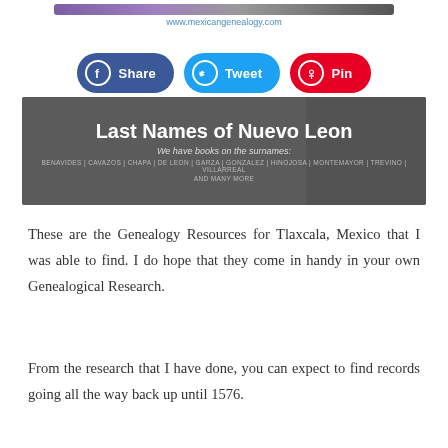www.mexicangenealogy.com
[Figure (infographic): Social sharing buttons row: Share (Facebook, blue), Tweet (Twitter, light blue), Pin (Pinterest, red)]
[Figure (infographic): Banner image with church silhouette and text: Last Names of Nuevo Leon - We have books on the surnames: BENAVIDES | CAVAZOS | CHAPA | DE LEON | GARZA | GONZALEZ | HINOJOSA | MONTEMAYOR | TREVINO | VILLARREAL AND MANY MORE]
These are the Genealogy Resources for Tlaxcala, Mexico that I was able to find. I do hope that they come in handy in your own Genealogical Research.
From the research that I have done, you can expect to find records going all the way back up until 1576.